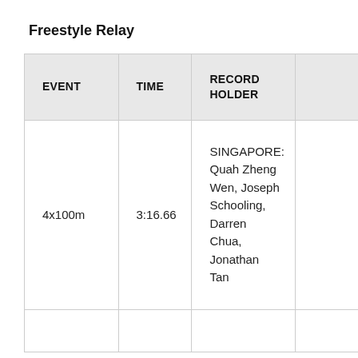Freestyle Relay
| EVENT | TIME | RECORD HOLDER |  |
| --- | --- | --- | --- |
| 4x100m | 3:16.66 | SINGAPORE: Quah Zheng Wen, Joseph Schooling, Darren Chua, Jonathan Tan |  |
|  |  |  |  |